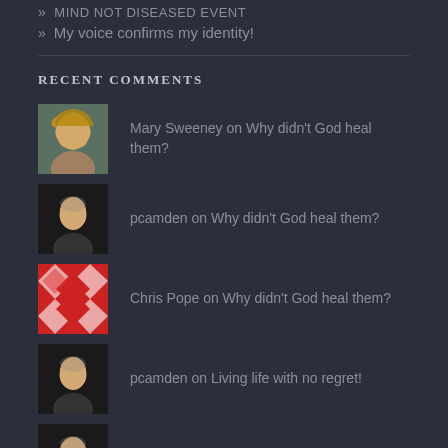» MIND NOT DISEASED EVENT
» My voice confirms my identity!
RECENT COMMENTS
Mary Sweeney on Why didn't God heal them?
pcamden on Why didn't God heal them?
Chris Pope on Why didn't God heal them?
pcamden on Living life with no regret!
pcamden on My voice confirms my identity!